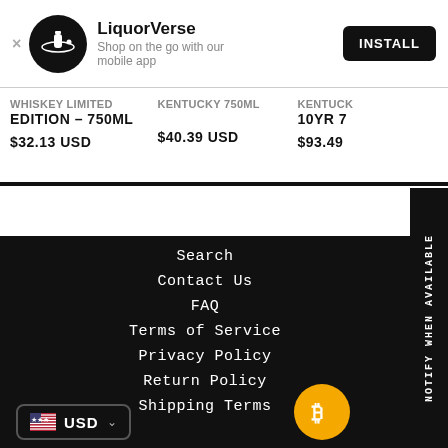[Figure (logo): LiquorVerse app banner with circular black logo icon, app name, tagline, and INSTALL button]
WHISKEY LIMITED EDITION – 750ML
$32.13 USD
KENTUCKY 750ML
$40.39 USD
KENTUCK 10YR 7
$93.49
NOTIFY WHEN AVAILABLE
Search
Contact Us
FAQ
Terms of Service
Privacy Policy
Return Policy
Shipping Terms
USD
[Figure (logo): Bitcoin logo orange circle with white B symbol]